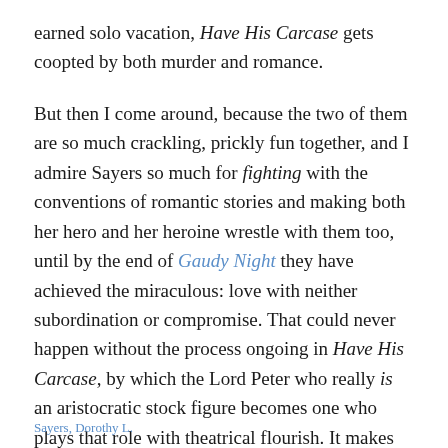earned solo vacation, Have His Carcase gets coopted by both murder and romance.
But then I come around, because the two of them are so much crackling, prickly fun together, and I admire Sayers so much for fighting with the conventions of romantic stories and making both her hero and her heroine wrestle with them too, until by the end of Gaudy Night they have achieved the miraculous: love with neither subordination or compromise. That could never happen without the process ongoing in Have His Carcase, by which the Lord Peter who really is an aristocratic stock figure becomes one who plays that role with theatrical flourish. It makes me feel all of a doo-dah, what? 🙂 Just writing about it cheers me up all over again.
Sayers, Dorothy L.